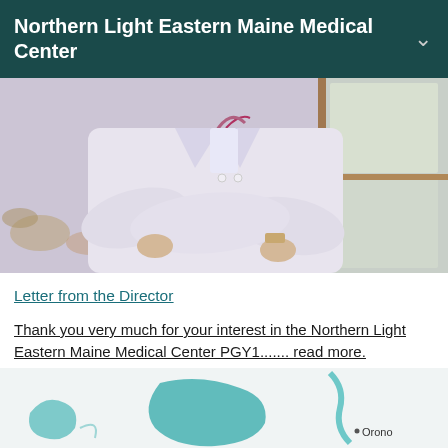Northern Light Eastern Maine Medical Center
[Figure (photo): A medical professional in a white lab coat with arms crossed, wearing a name badge, standing near a window]
Letter from the Director
Thank you very much for your interest in the Northern Light Eastern Maine Medical Center PGY1....... read more.
[Figure (map): Partial map showing teal/green geographic region with text label 'Orono']